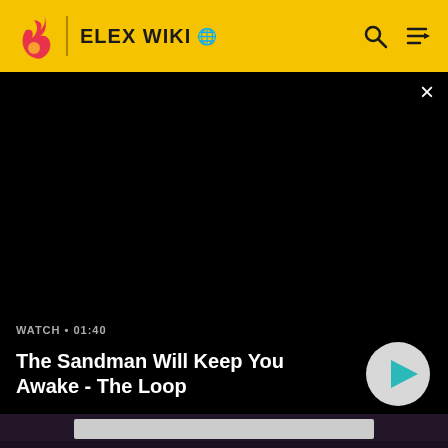ELEX WIKI
[Figure (screenshot): Black video player area with close button (×) in top-right corner, showing a dark/black video frame]
WATCH • 01:40
The Sandman Will Keep You Awake - The Loop
ADVERTISEMENT
Formula
The formula for determining how much XP is necessary to